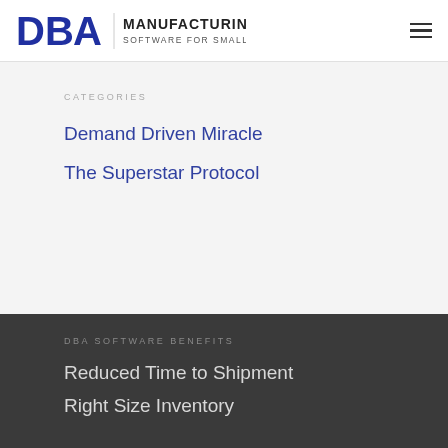[Figure (logo): DBA Manufacturing Software for Small Business logo — blue DBA letters with black text MANUFACTURING and subtitle SOFTWARE FOR SMALL BUSINESS]
CATEGORIES
Demand Driven Miracle
The Superstar Protocol
DBA SOFTWARE BENEFITS
Reduced Time to Shipment
Right Size Inventory